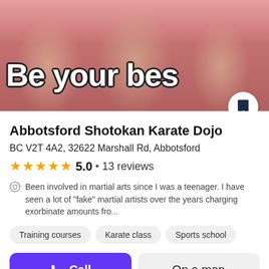[Figure (photo): Three young girls in white karate uniforms holding medals with red ribbons, smiling. Pink background. Text 'Be your bes' overlaid in large white bold letters with dark outline.]
Abbotsford Shotokan Karate Dojo
BC V2T 4A2, 32622 Marshall Rd, Abbotsford
★★★★★ 5.0 • 13 reviews
Been involved in martial arts since I was a teenager. I have seen a lot of "fake" martial artists over the years charging exorbinate amounts fro...
Training courses
Karate class
Sports school
Call
On a map
[Figure (photo): Bottom strip showing partial images of buildings/landscapes.]